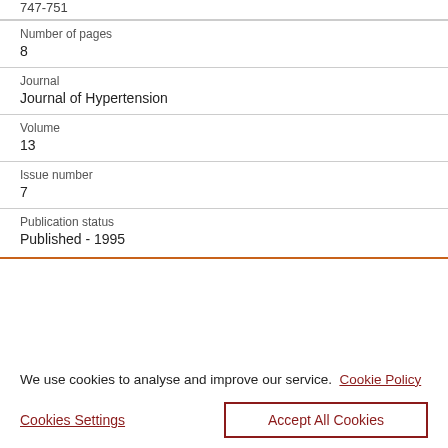747-751
Number of pages
8
Journal
Journal of Hypertension
Volume
13
Issue number
7
Publication status
Published - 1995
We use cookies to analyse and improve our service. Cookie Policy
Cookies Settings
Accept All Cookies